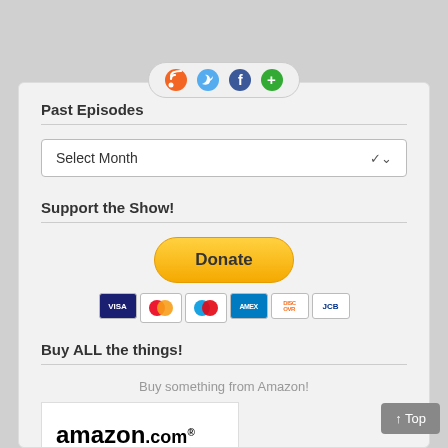[Figure (other): Social media icon bar with RSS, Twitter, Facebook, and another icon in a rounded pill shape at the top]
Past Episodes
[Figure (screenshot): Dropdown select box showing 'Select Month' with a chevron arrow]
Support the Show!
[Figure (other): PayPal Donate button (yellow/gold rounded pill) with credit card icons below (Visa, Mastercard, Maestro, Amex, Discover, JCB)]
Buy ALL the things!
Buy something from Amazon!
[Figure (logo): Amazon.com 'and you're done.' logo on white background with Books label on green background below]